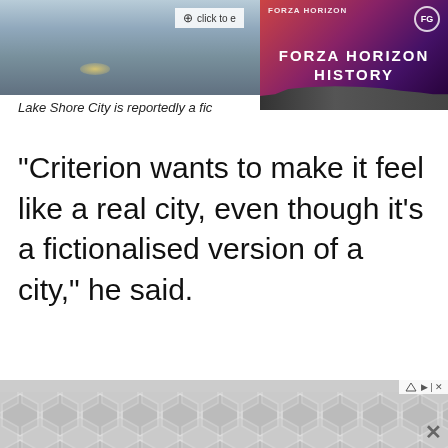[Figure (screenshot): Top-left: game screenshot with cloudy sky scene and 'click to enlarge' overlay. Top-right: Forza Horizon History promotional image with purple-red gradient background and car silhouette.]
Lake Shore City is reportedly a fic
“Criterion wants to make it feel like a real city, even though it’s a fictionalised version of a city,” he said.
[Figure (other): Advertisement placeholder box with grey background and 'Advertisement' label. Share button on right side.]
[Figure (other): Bottom ad banner with hexagonal geometric pattern in grey tones, with close button and ad choice icons.]